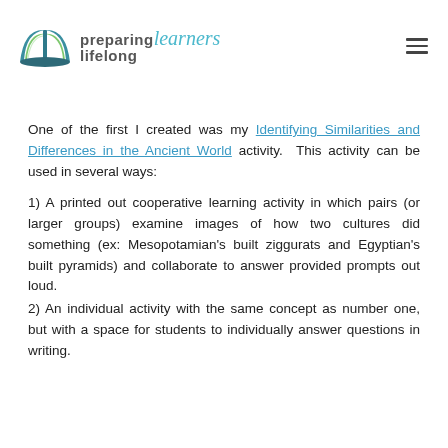[Figure (logo): Preparing Lifelong Learners logo with open book icon in teal and green]
One of the first I created was my Identifying Similarities and Differences in the Ancient World activity. This activity can be used in several ways:
1) A printed out cooperative learning activity in which pairs (or larger groups) examine images of how two cultures did something (ex: Mesopotamian's built ziggurats and Egyptian's built pyramids) and collaborate to answer provided prompts out loud.
2) An individual activity with the same concept as number one, but with a space for students to individually answer questions in writing.